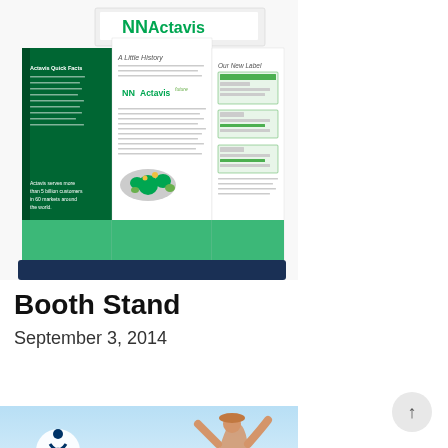[Figure (photo): Actavis branded trade show booth stand with three panels. Left panel is dark green with 'Actavis Quick Facts' text and bullet points. Center panel is white with 'A Little History' heading and Actavis logo. Right panel shows 'Our New Label' with label images. The booth has a navy blue base and the Actavis logo appears prominently at the top center.]
Booth Stand
September 3, 2014
[Figure (photo): Nestwood Health logo and promotional banner with light blue background and a silhouette of a person with arms raised.]